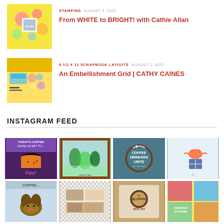[Figure (photo): Thumbnail image for article about stamping with colorful scrapbook page]
STAMPING   AUGUST 2, 2022
From WHITE to BRIGHT! with Cathie Allan
[Figure (photo): Thumbnail image for scrapbook layouts article with craft supplies]
8 1/2 X 11 SCRAPBOOK LAYOUTS   AUGUST 2, 2022
An Embellishment Grid | CATHY CAINES
INSTAGRAM FEED
[Figure (photo): Instagram grid with 8 craft/scrapbook photos in 4x2 grid]
[Figure (photo): Instagram post: coffee cup with text 'Today's coffee level is set to... Enjoy!']
[Figure (photo): Instagram post: watercolor landscape card with green trees]
[Figure (photo): Instagram post: Coffee Drinkers Unite stamp on teal background]
[Figure (photo): Instagram post: watercolor crab and shield illustration]
[Figure (photo): Instagram post: coffee themed dog photo]
[Figure (photo): Instagram post: black and white checkered scrapbook layout]
[Figure (photo): Instagram post: coffee themed card with latte art]
[Figure (photo): Instagram post: colorful everyday is a game scrapbook layout]